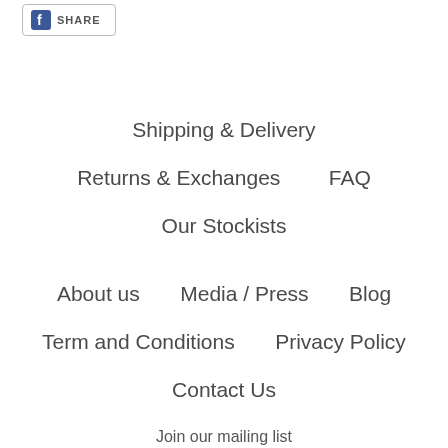[Figure (logo): Facebook Share button with FB logo icon and SHARE text in a bordered box]
Shipping & Delivery
Returns & Exchanges     FAQ
Our Stockists
About us     Media / Press     Blog
Term and Conditions     Privacy Policy
Contact Us
Join our mailing list